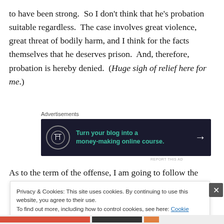to have been strong.  So I don't think that he's probation suitable regardless.  The case involves great violence, great threat of bodily harm, and I think for the facts themselves that he deserves prison.  And, therefore, probation is hereby denied.  (Huge sigh of relief here for me.)
[Figure (other): Advertisement banner: 'Turn your blog into a money-making online course.' on dark background with arrow]
As to the term of the offense, I am going to follow the
Privacy & Cookies: This site uses cookies. By continuing to use this website, you agree to their use. To find out more, including how to control cookies, see here: Cookie Policy. Close and accept.